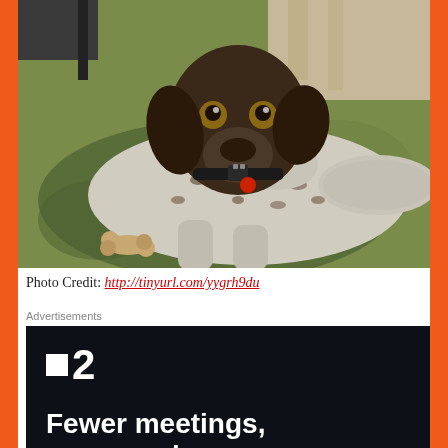[Figure (photo): A German Shorthaired Pointer dog lying on a colorful rug, looking directly at the camera with alert amber eyes. The dog has a dark brown head and a speckled white and brown body, wearing a black collar with a red tag. A chewed bone is visible on the rug beside it.]
Photo Credit: http://tinyurl.com/yygrh9du
Advertisements
[Figure (screenshot): Dark navy/black advertisement banner showing a white square icon followed by the number 2, and large bold white text reading 'Fewer meetings, more work']